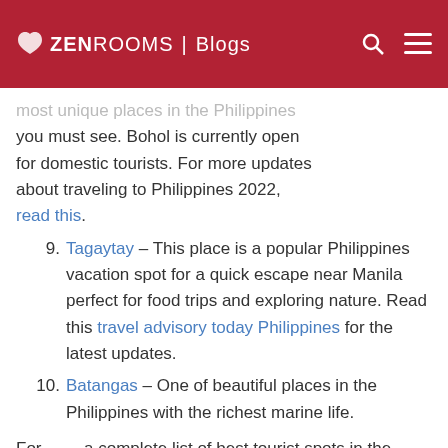ZEN ROOMS | Blogs
most unique places in the Philippines you must see. Bohol is currently open for domestic tourists. For more updates about traveling to Philippines 2022, read this.
9. Tagaytay – This place is a popular Philippines vacation spot for a quick escape near Manila perfect for food trips and exploring nature. Read this travel advisory today Philippines for the latest updates.
10. Batangas – One of beautiful places in the Philippines with the richest marine life.
For a complete list of best tourist spots in the...